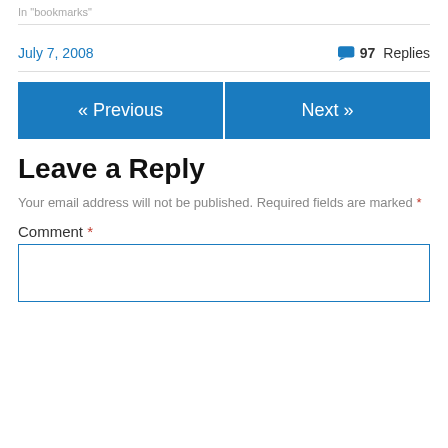In "bookmarks"
July 7, 2008
97 Replies
« Previous
Next »
Leave a Reply
Your email address will not be published. Required fields are marked *
Comment *